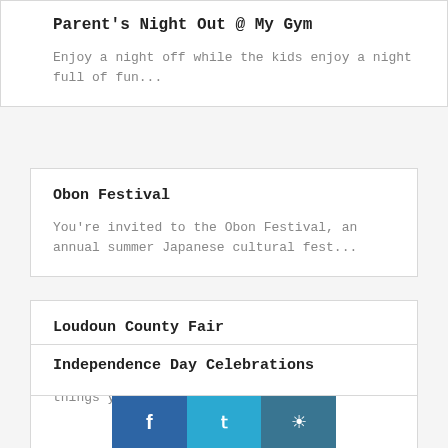Parent's Night Out @ My Gym
Enjoy a night off while the kids enjoy a night full of fun...
Obon Festival
You're invited to the Obon Festival, an annual summer Japanese cultural fest...
Loudoun County Fair
Five days of rides, games, and live entertainment means there's no end to the things you can see and do...
Independence Day Celebrations
[Figure (infographic): Social media share buttons: Facebook (blue), Twitter (light blue), Instagram (dark teal)]